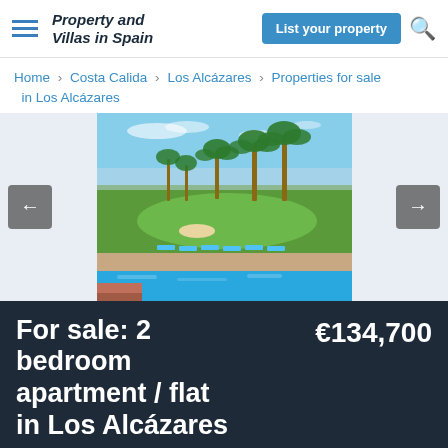Property and Villas in Spain | List your property
Home › Costa Calida › Los Alcázares › Properties for sale in Los Alcázares
[Figure (photo): Outdoor photo showing a golf course with palm trees, sun loungers, and a swimming pool in the foreground, blue sky above]
For sale: 2 bedroom apartment / flat in Los Alcázares   €134,700